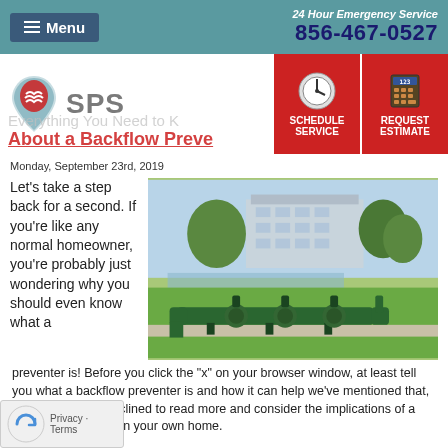Menu | 24 Hour Emergency Service 856-467-0527
[Figure (logo): SPS plumbing company logo with water drop icon and SPS text]
Everything You Need to Know About a Backflow Preventer
[Figure (illustration): Schedule Service button with clock icon (red background)]
[Figure (illustration): Request Estimate button with calculator icon (red background)]
Monday, September 23rd, 2019
Let's take a step back for a second. If you're like any normal homeowner, you're probably just wondering why you should even know what a
[Figure (photo): Green backflow preventer pipe assembly on grass in front of a commercial building with a lake in the background]
preventer is! Before you click the "x" on your browser window, at least tell you what a backflow preventer is and how it can help we've mentioned that, perhaps you'll be inclined to read more and consider the implications of a backflow preventer in your own home.